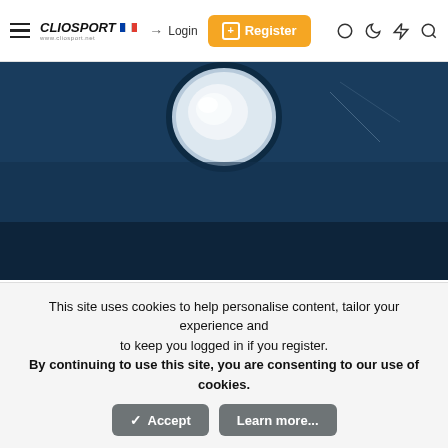ClioSport — Navigation bar with Login and Register buttons
[Figure (photo): Dark blue painted car interior/body panel showing a circular hole with light reflection, viewed from inside]
[Figure (photo): Blue car body panel with black electrical component and red wiring/cables visible]
This site uses cookies to help personalise content, tailor your experience and to keep you logged in if you register.
By continuing to use this site, you are consenting to our use of cookies.
Accept   Learn more...